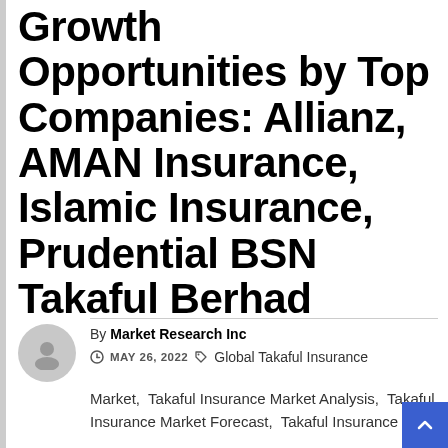…Malaysia, Business Growth Opportunities by Top Companies: Allianz, AMAN Insurance, Islamic Insurance, Prudential BSN Takaful Berhad
By Market Research Inc — MAY 26, 2022 — Global Takaful Insurance Market, Takaful Insurance Market Analysis, Takaful Insurance Market Forecast, Takaful Insurance